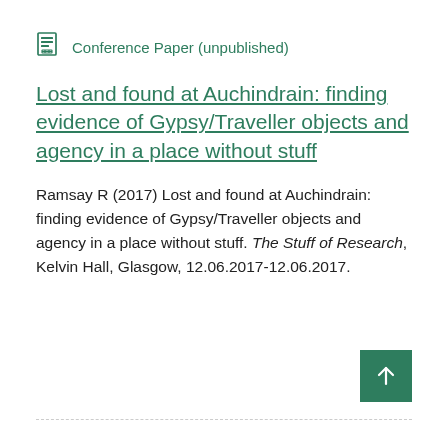Conference Paper (unpublished)
Lost and found at Auchindrain: finding evidence of Gypsy/Traveller objects and agency in a place without stuff
Ramsay R (2017) Lost and found at Auchindrain: finding evidence of Gypsy/Traveller objects and agency in a place without stuff. The Stuff of Research, Kelvin Hall, Glasgow, 12.06.2017-12.06.2017.